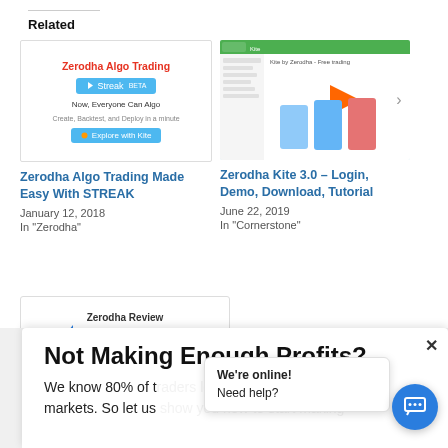Related
[Figure (screenshot): Zerodha Algo Trading promotional image showing Streak branding with text 'Now, Everyone Can Algo', 'Create, Backtest, and Deploy in a minute']
Zerodha Algo Trading Made Easy With STREAK
January 12, 2018
In "Zerodha"
[Figure (screenshot): Zerodha Kite 3.0 mobile app screenshot showing trading interface screens]
Zerodha Kite 3.0 – Login, Demo, Download, Tutorial
June 22, 2019
In "Cornerstone"
[Figure (screenshot): Zerodha Review - Zerodha The Discount Brokerage logo image]
Not Making Enough Profits?
We know 80% of traders lose money trading markets. So let us show you how to start making
We're online!
Need help?